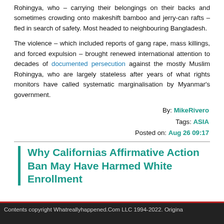Rohingya, who – carrying their belongings on their backs and sometimes crowding onto makeshift bamboo and jerry-can rafts – fled in search of safety. Most headed to neighbouring Bangladesh.
The violence – which included reports of gang rape, mass killings, and forced expulsion – brought renewed international attention to decades of documented persecution against the mostly Muslim Rohingya, who are largely stateless after years of what rights monitors have called systematic marginalisation by Myanmar's government.
By: MikeRivero
Tags: ASIA
Posted on: Aug 26 09:17
Why Californias Affirmative Action Ban May Have Harmed White Enrollment
Contents copyright Whatreallyhappened.Com LLC 1994-2022. Origina